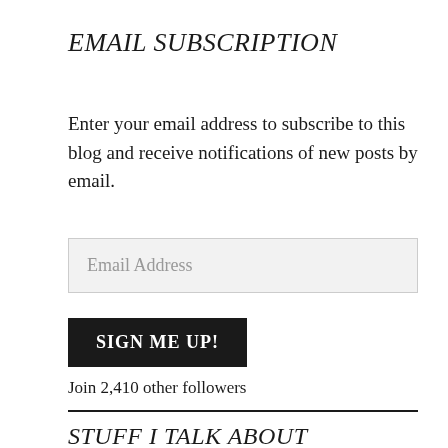EMAIL SUBSCRIPTION
Enter your email address to subscribe to this blog and receive notifications of new posts by email.
[Figure (other): Email Address input field with light gray background]
[Figure (other): SIGN ME UP! button with black background and white bold text]
Join 2,410 other followers
STUFF I TALK ABOUT